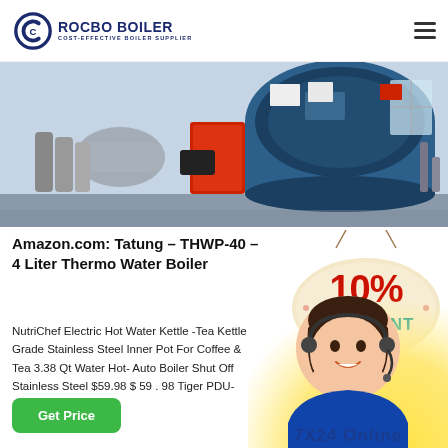[Figure (logo): Rocbo Boiler logo with circular C icon and text 'ROCBO BOILER / COST-EFFECTIVE BOILER SUPPLIER']
[Figure (photo): Industrial boiler room showing large dark blue cylindrical boiler, red vertical unit, and silver ductwork/pipes]
Amazon.com: Tatung – THWP-40 – 4 Liter Thermo Water Boiler
[Figure (infographic): Circular discount badge showing '10% DISCOUNT' in red and teal on cream/beige background with string hanging effect]
NutriChef Electric Hot Water Kettle -Tea Kettle Grade Stainless Steel Inner Pot For Coffee & Tea 3.38 Qt Water Hot- Auto Boiler Shut Off Stainless Steel $59.98 $ 59 . 98 Tiger PDU-A40U-K Electric Wa
[Figure (photo): Customer service representative (woman with headset smiling) with yellow/green gradient background and '7X24 Online' text]
Get Price